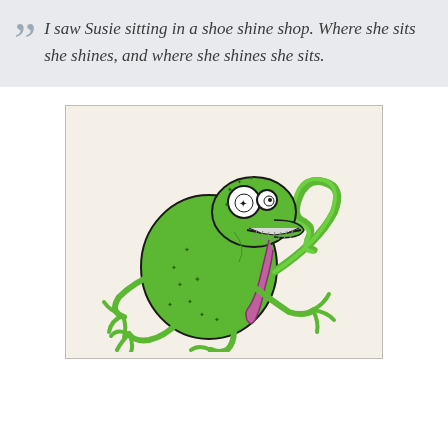I saw Susie sitting in a shoe shine shop. Where she sits she shines, and where she shines she sits.
[Figure (illustration): Cartoon illustration of a green lizard/chameleon sitting with its mouth wide open, long pink tongue hanging out, and a curled tail. The creature has wide googly eyes and small cross-hatch marks on its body suggesting texture.]